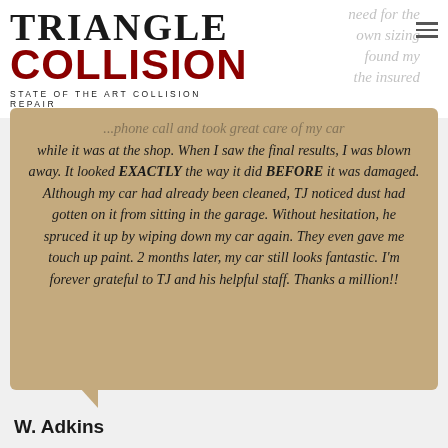[Figure (logo): Triangle Collision logo with 'TRIANGLE' in black serif font, 'COLLISION' in bold red, and tagline 'STATE OF THE ART COLLISION REPAIR' in small caps]
...phone call and took great care of my car while it was at the shop. When I saw the final results, I was blown away. It looked EXACTLY the way it did BEFORE it was damaged. Although my car had already been cleaned, TJ noticed dust had gotten on it from sitting in the garage. Without hesitation, he spruced it up by wiping down my car again. They even gave me touch up paint. 2 months later, my car still looks fantastic. I'm forever grateful to TJ and his helpful staff. Thanks a million!!
W. Adkins